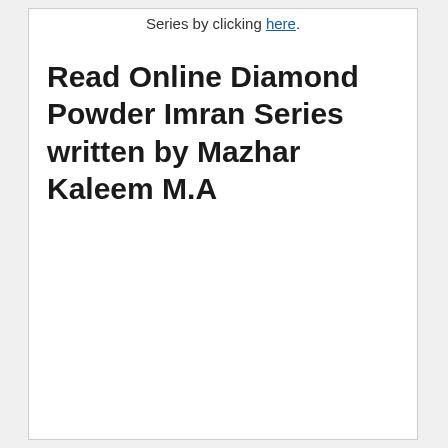Series by clicking here.
Read Online Diamond Powder Imran Series written by Mazhar Kaleem M.A